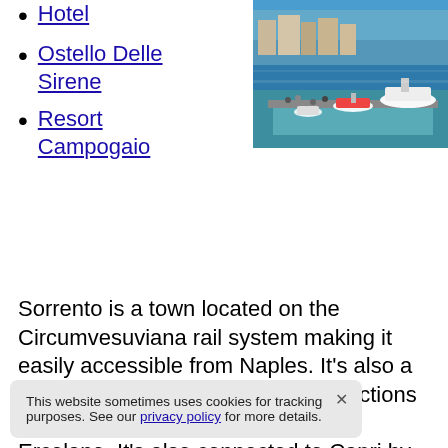Hotel
Ostello Delle Sirene
Resort Campogaio
[Figure (photo): Aerial view of a harbor with boats and waterfront, likely Sorrento or Capri, Italy]
Sorrento is a town located on the Circumvesuviana rail system making it easily accessible from Naples. It's also a great base for exploring many attractions in the area including Pompeii and Ercolano. It's also connected to Capri by ferry. The town itself has beautiful architecture, quaint cafes, rants. There's also a lot hat cater specifically to
This website sometimes uses cookies for tracking purposes. See our privacy policy for more details.